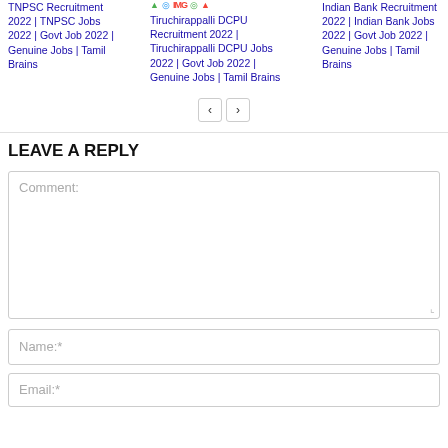TNPSC Recruitment 2022 | TNPSC Jobs 2022 | Govt Job 2022 | Genuine Jobs | Tamil Brains
Tiruchirappalli DCPU Recruitment 2022 | Tiruchirappalli DCPU Jobs 2022 | Govt Job 2022 | Genuine Jobs | Tamil Brains
Indian Bank Recruitment 2022 | Indian Bank Jobs 2022 | Govt Job 2022 | Genuine Jobs | Tamil Brains
LEAVE A REPLY
Comment:
Name:*
Email:*